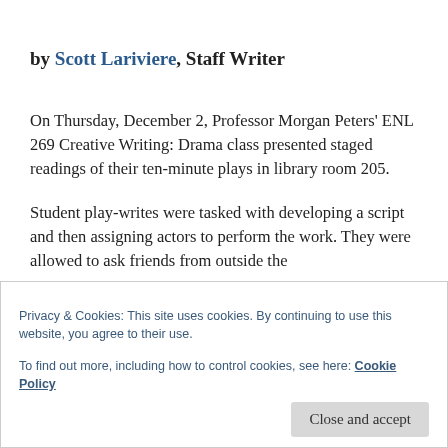by Scott Lariviere, Staff Writer
On Thursday, December 2, Professor Morgan Peters' ENL 269 Creative Writing: Drama class presented staged readings of their ten-minute plays in library room 205.
Student play-writes were tasked with developing a script and then assigning actors to perform the work. They were allowed to ask friends from outside the
Privacy & Cookies: This site uses cookies. By continuing to use this website, you agree to their use.
To find out more, including how to control cookies, see here: Cookie Policy
Close and accept